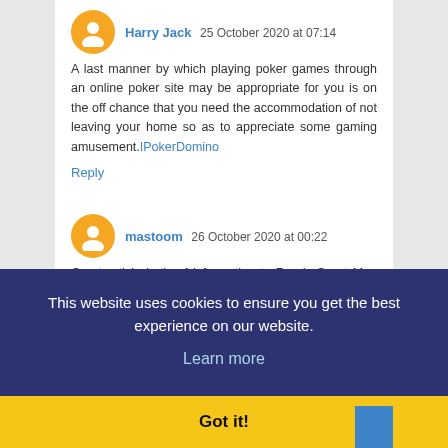Harry Jack  25 October 2020 at 07:14
A last manner by which playing poker games through an online poker site may be appropriate for you is on the off chance that you need the accommodation of not leaving your home so as to appreciate some gaming amusement.IPokerDomino
Reply
mastoom  26 October 2020 at 00:22
Great article Lot's of information to Read...Great Man Keep Posting and update to People Thanks  dominogg
This website uses cookies to ensure you get the best experience on our website.
Learn more
Got it!
right here! https://128.199.215.112/